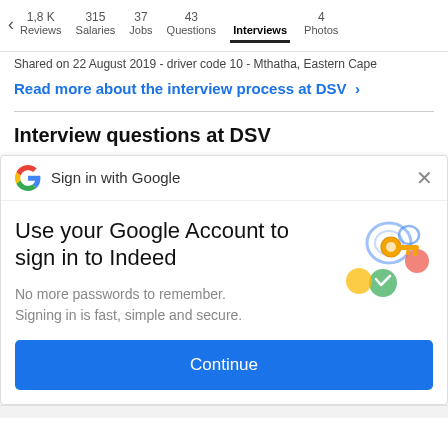< 1,8 K Reviews | 315 Salaries | 37 Jobs | 43 Questions | Interviews | 4 Photos
Shared on 22 August 2019 - driver code 10 - Mthatha, Eastern Cape
Read more about the interview process at DSV >
Interview questions at DSV
Sign in with Google
Use your Google Account to sign in to Indeed
No more passwords to remember.
Signing in is fast, simple and secure.
[Figure (illustration): Google sign-in illustration with a golden key and colorful circular shapes (blue, green, red, yellow)]
Continue